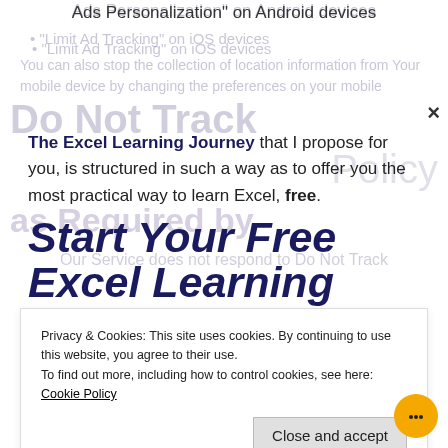Ads Personalization" on Android devices
"Limit Ad Tracking" on iOS devices
The Excel Learning Journey that I propose for you, is structured in such a way as to offer you the most practical way to learn Excel, free.
Start Your Free Excel Learning Journey!
Enter your email address to subscribe to this blog:
Privacy & Cookies: This site uses cookies. By continuing to use this website, you agree to their use.
To find out more, including how to control cookies, see here: Cookie Policy
Close and accept